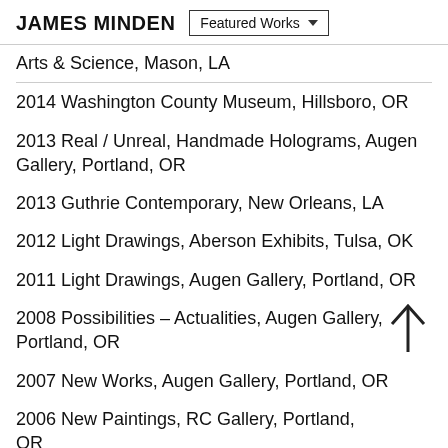JAMES MINDEN | Featured Works
Arts & Science, Mason, LA
2014 Washington County Museum, Hillsboro, OR
2013 Real / Unreal, Handmade Holograms, Augen Gallery, Portland, OR
2013 Guthrie Contemporary, New Orleans, LA
2012 Light Drawings, Aberson Exhibits, Tulsa, OK
2011 Light Drawings, Augen Gallery, Portland, OR
2008 Possibilities – Actualities, Augen Gallery, Portland, OR
2007 New Works, Augen Gallery, Portland, OR
2006 New Paintings, RC Gallery, Portland, OR
2006 Recent Prints, Paragon, Portland, OR
2006 Then and Now, North Light Gallery, Portland Community College, Sylvania, Portland, OR